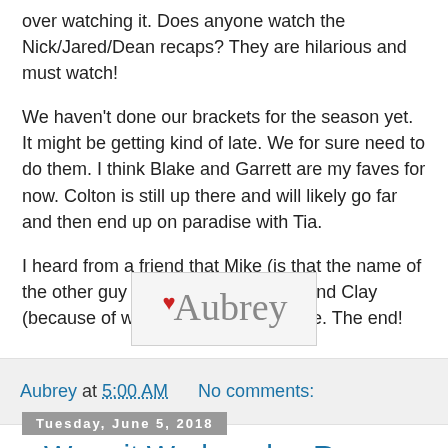over watching it. Does anyone watch the Nick/Jared/Dean recaps? They are hilarious and must watch!
We haven't done our brackets for the season yet. It might be getting kind of late. We for sure need to do them. I think Blake and Garrett are my faves for now. Colton is still up there and will likely go far and then end up on paradise with Tia.
I heard from a friend that Mike (is that the name of the other guy with long hair), Ryan, and Clay (because of wrist surgery) went home. The end!
[Figure (illustration): Handwritten cursive signature reading 'Aubrey' with a small red heart, on a light gray background with a border.]
Aubrey at 5:00 AM   No comments:
Tuesday, June 5, 2018
Wear it Wednesday Rose Gold...